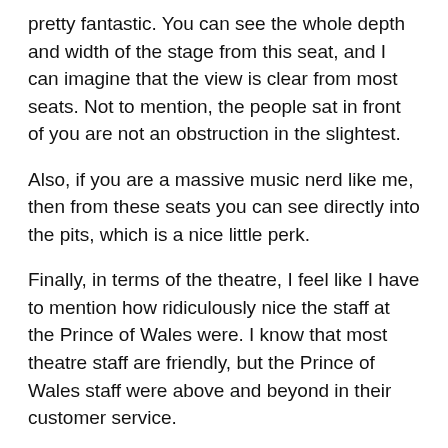pretty fantastic. You can see the whole depth and width of the stage from this seat, and I can imagine that the view is clear from most seats. Not to mention, the people sat in front of you are not an obstruction in the slightest.
Also, if you are a massive music nerd like me, then from these seats you can see directly into the pits, which is a nice little perk.
Finally, in terms of the theatre, I feel like I have to mention how ridiculously nice the staff at the Prince of Wales were. I know that most theatre staff are friendly, but the Prince of Wales staff were above and beyond in their customer service.
T H E S H O W